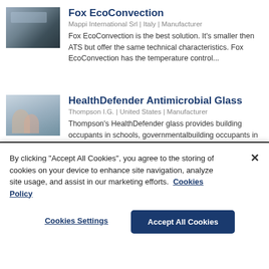Fox EcoConvection
Mappi International Srl | Italy | Manufacturer
Fox EcoConvection is the best solution. It's smaller then ATS but offer the same technical characteristics. Fox EcoConvection has the temperature control...
[Figure (photo): Industrial oven/convection machine, gray metallic, viewed from slight angle]
HealthDefender Antimicrobial Glass
Thompson I.G. | United States | Manufacturer
Thompson's HealthDefender glass provides building occupants in schools, governmental...
[Figure (photo): Two people wearing face masks, viewed through glass]
By clicking "Accept All Cookies", you agree to the storing of cookies on your device to enhance site navigation, analyze site usage, and assist in our marketing efforts.  Cookies Policy
Cookies Settings
Accept All Cookies